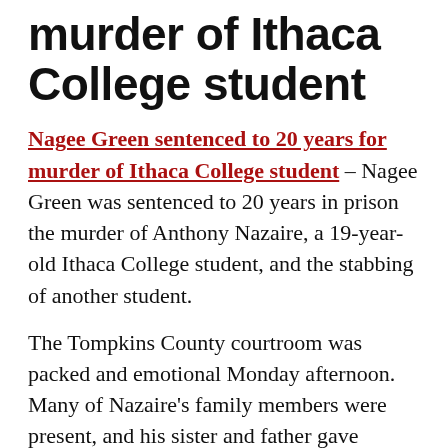murder of Ithaca College student
Nagee Green sentenced to 20 years for murder of Ithaca College student – Nagee Green was sentenced to 20 years in prison the murder of Anthony Nazaire, a 19-year-old Ithaca College student, and the stabbing of another student.
The Tompkins County courtroom was packed and emotional Monday afternoon. Many of Nazaire's family members were present, and his sister and father gave powerful statements to the court.